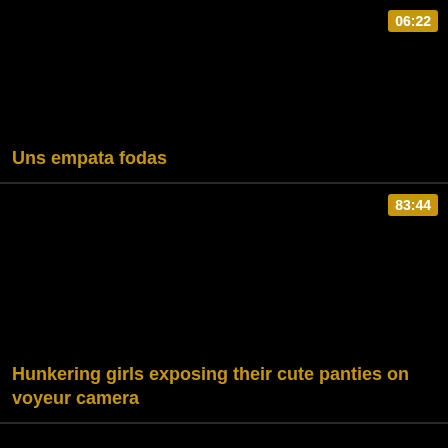[Figure (screenshot): Video thumbnail card with dark/black background, gold badge showing duration 06:22 in top right, and gold title text at bottom left]
Uns empata fodas
[Figure (screenshot): Video thumbnail card with dark/black background, gold badge showing duration 83:44 in lower right, and gold title text at bottom left]
Hunkering girls exposing their cute panties on voyeur camera
[Figure (screenshot): Partial video thumbnail card with dark background, bottom of page]